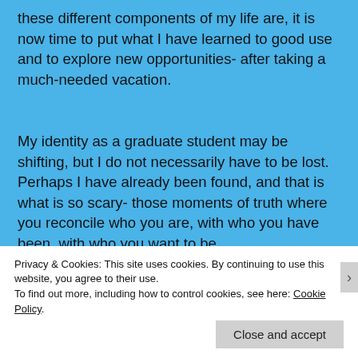these different components of my life are, it is now time to put what I have learned to good use and to explore new opportunities- after taking a much-needed vacation.
My identity as a graduate student may be shifting, but I do not necessarily have to be lost.  Perhaps I have already been found, and that is what is so scary- those moments of truth where you reconcile who you are, with who you have been, with who you want to be.
Complicating such notions is the fact that today marks
Privacy & Cookies: This site uses cookies. By continuing to use this website, you agree to their use.
To find out more, including how to control cookies, see here: Cookie Policy